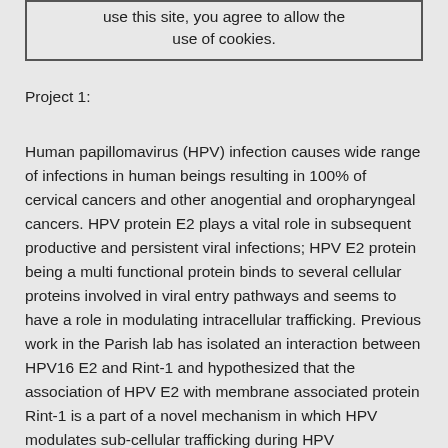use this site, you agree to allow the use of cookies.
Project 1:
Human papillomavirus (HPV) infection causes wide range of infections in human beings resulting in 100% of cervical cancers and other anogential and oropharyngeal cancers. HPV protein E2 plays a vital role in subsequent productive and persistent viral infections; HPV E2 protein being a multi functional protein binds to several cellular proteins involved in viral entry pathways and seems to have a role in modulating intracellular trafficking. Previous work in the Parish lab has isolated an interaction between HPV16 E2 and Rint-1 and hypothesized that the association of HPV E2 with membrane associated protein Rint-1 is a part of a novel mechanism in which HPV modulates sub-cellular trafficking during HPV